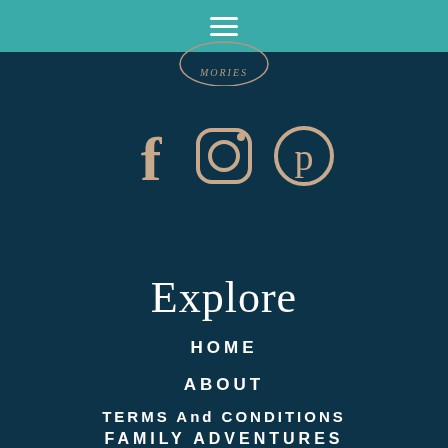[Figure (logo): Partial circular logo with text MORIES in italic serif font, beige/tan color on dark navy background]
[Figure (infographic): Three social media icons: Facebook (f), Instagram (camera square with circle), Pinterest (p in circle), all in beige/tan color on dark navy background]
Explore
HOME
ABOUT
TERMS And CONDITIONS
FAMILY ADVENTURES